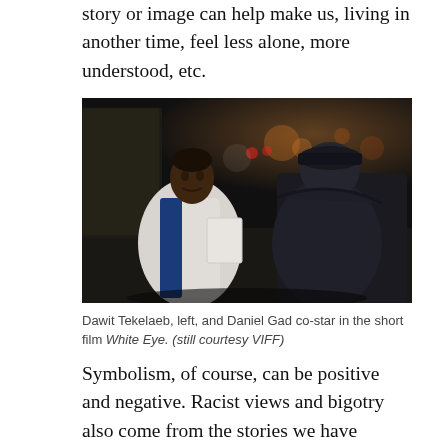story or image can help make us, living in another time, feel less alone, more understood, etc.
[Figure (photo): Two men facing each other on a city street at night. The man on the left is a Black man wearing a white and blue polo shirt holding papers. The man on the right is wearing a dark jacket and cap, seen from behind. City lights and street visible in background.]
Dawit Tekelaeb, left, and Daniel Gad co-star in the short film White Eye. (still courtesy VIFF)
Symbolism, of course, can be positive and negative. Racist views and bigotry also come from the stories we have learned and tell ourselves. And White Eye, both directed and written by Shushan, does a superb job of illustrating how prejudices and privilege we may not even know we have can lead to disastrous